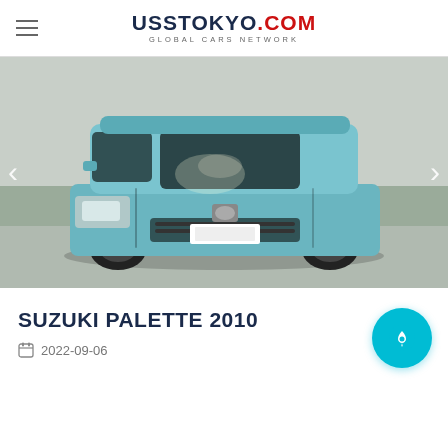UssTokyo.com — Global Cars Network
[Figure (photo): A light blue Suzuki Palette 2010 kei car photographed from the front-left angle in an outdoor auction lot setting. The compact boxy vehicle has a turquoise/teal metallic paint, visible headlights with some dirt/damage on the hood, and dark tinted windows.]
SUZUKI PALETTE 2010
2022-09-06